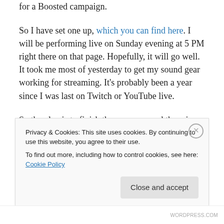for a Boosted campaign.
So I have set one up, which you can find here. I will be performing live on Sunday evening at 5 PM right there on that page. Hopefully, it will go well. It took me most of yesterday to get my sound gear working for streaming. It's probably been a year since I was last on Twitch or YouTube live.
So the plan is to finish the songs, record them in a studio together with a few volunteer musos and create The Cancer Diaries EP and video. I'm also hoping for support
Privacy & Cookies: This site uses cookies. By continuing to use this website, you agree to their use.
To find out more, including how to control cookies, see here: Cookie Policy
Close and accept